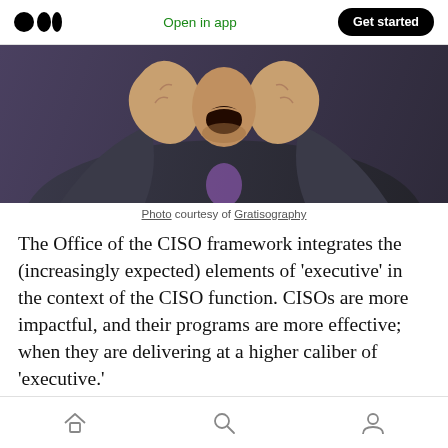Open in app  Get started
[Figure (photo): Person in a suit holding their face/head with both hands, appearing to scream or be in distress]
Photo courtesy of Gratisography
The Office of the CISO framework integrates the (increasingly expected) elements of 'executive' in the context of the CISO function. CISOs are more impactful, and their programs are more effective; when they are delivering at a higher caliber of 'executive.'
Home  Search  Profile